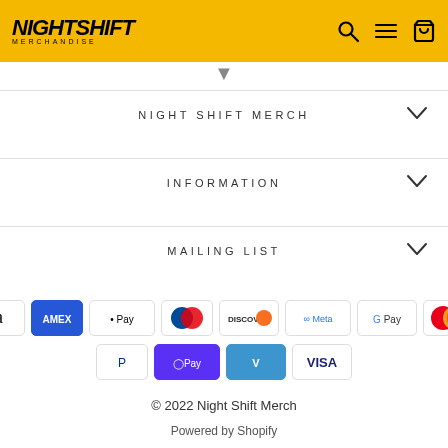NIGHT SHIFT MERCHANDISE
NIGHT SHIFT MERCH
INFORMATION
MAILING LIST
[Figure (infographic): Payment method icons: Amazon Pay, American Express, Apple Pay, Diners Club, Discover, Meta Pay, Google Pay, Mastercard, PayPal, Shop Pay, Venmo, Visa]
© 2022 Night Shift Merch
Powered by Shopify